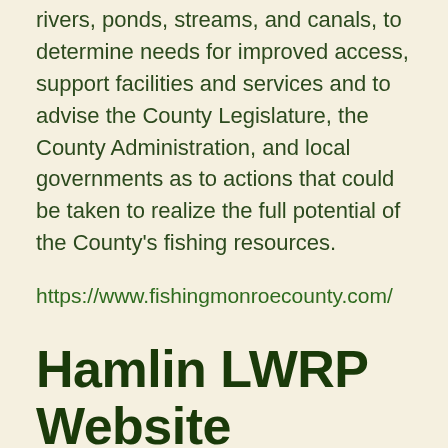rivers, ponds, streams, and canals, to determine needs for improved access, support facilities and services and to advise the County Legislature, the County Administration, and local governments as to actions that could be taken to realize the full potential of the County's fishing resources.
https://www.fishingmonroecounty.com/
Hamlin LWRP Website
Posted March 12, 2021
New Website for the Town of Hamlin Local Waterfront Revitalization Pl...